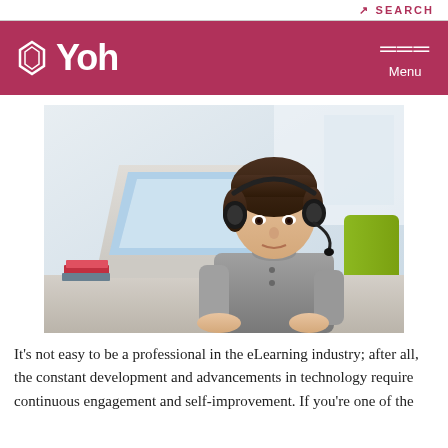SEARCH
Yoh Menu
[Figure (photo): Young man wearing a headset, sitting at a laptop computer in an office environment, with colleagues visible in the background.]
It's not easy to be a professional in the eLearning industry; after all, the constant development and advancements in technology require continuous engagement and self-improvement. If you're one of the